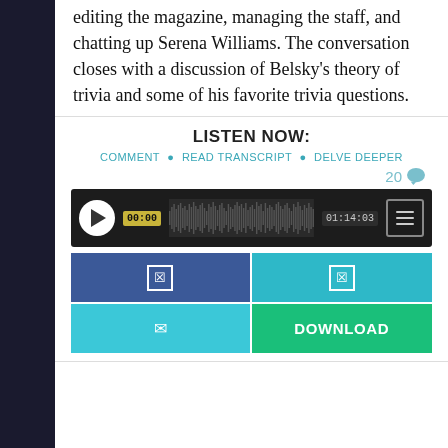editing the magazine, managing the staff, and chatting up Serena Williams. The conversation closes with a discussion of Belsky's theory of trivia and some of his favorite trivia questions.
LISTEN NOW:
COMMENT • READ TRANSCRIPT • DELVE DEEPER
20
[Figure (screenshot): Audio player with play button, waveform display showing 00:00 and 01:14:03 timestamps, and a menu button]
[Figure (screenshot): Button grid with social share icon (blue), another icon (teal), email icon (light blue), and DOWNLOAD button (green)]